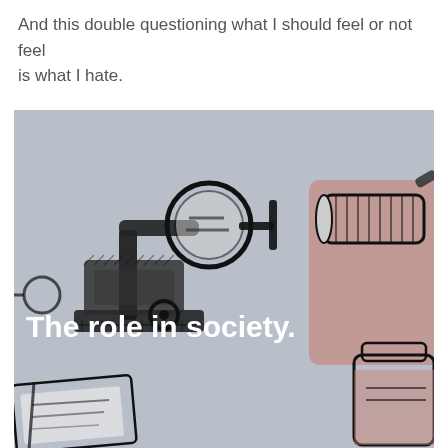And this double questioning what I should feel or not feel is what I hate.
[Figure (illustration): Hand-drawn sketch illustration on a grey-blue background showing various objects: a sewing machine with a circular mirror/magnifying glass attachment, a cylindrical hairbrush or roller, a jar or bottle with a peach/pink accent, and what appears to be books or papers in the lower left. Overlaid white bold text reads 'The role in society.']